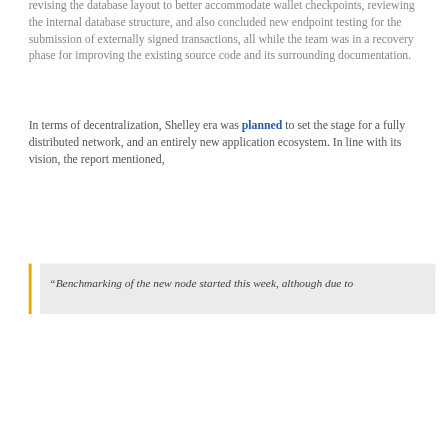revising the database layout to better accommodate wallet checkpoints, reviewing the internal database structure, and also concluded new endpoint testing for the submission of externally signed transactions, all while the team was in a recovery phase for improving the existing source code and its surrounding documentation.
In terms of decentralization, Shelley era was planned to set the stage for a fully distributed network, and an entirely new application ecosystem. In line with its vision, the report mentioned,
“Benchmarking of the new node started this week, although due to